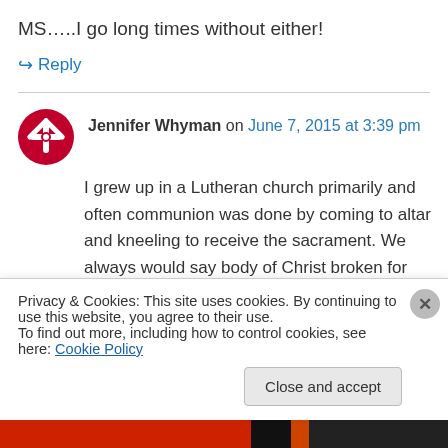MS…..I go long times without either!
↪ Reply
Jennifer Whyman on June 7, 2015 at 3:39 pm
I grew up in a Lutheran church primarily and often communion was done by coming to altar and kneeling to receive the sacrament. We always would say body of Christ broken for you and the blood of Christ shed for you I miss that in my non-denominational church now. For me, it
Privacy & Cookies: This site uses cookies. By continuing to use this website, you agree to their use.
To find out more, including how to control cookies, see here: Cookie Policy